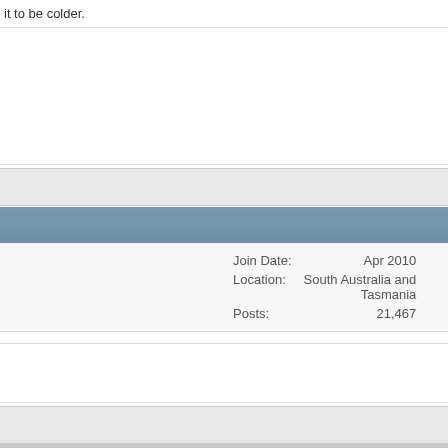it to be colder.
Reply With Quote
#47150
| Field | Value |
| --- | --- |
| Join Date: | Apr 2010 |
| Location: | South Australia and Tasmania |
| Posts: | 21,467 |
Reply With Quote